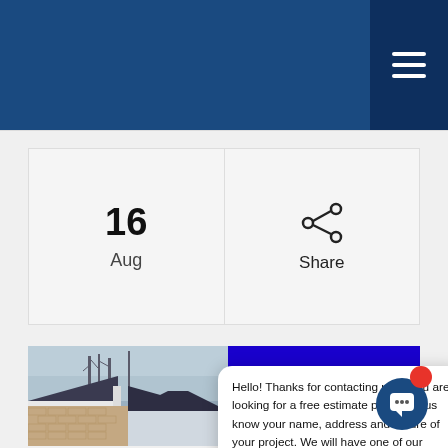[Figure (screenshot): Dark blue navigation header bar with hamburger menu icon on right side]
[Figure (infographic): Date and share box showing '16 Aug' on left and share icon on right]
[Figure (photo): Composite image: left half shows a house roof photograph, right half is a blue banner for Sealing Roofing. A chat popup overlay reads: Hello! Thanks for contacting us! If you are looking for a free estimate please let us know your name, address and nature of your project. We will have one of our consultants reach out to you shortly!]
Hello! Thanks for contacting us! If you are looking for a free estimate please let us know your name, address and nature of your project. We will have one of our consultants reach out to you shortly!